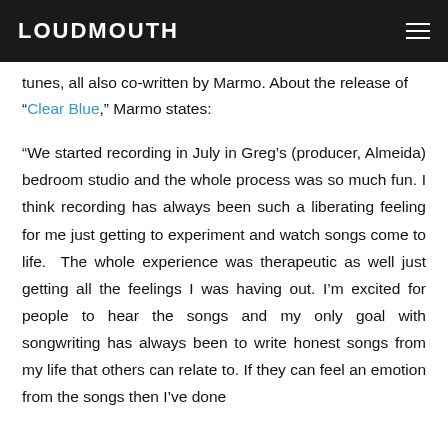LOUDMOUTH
tunes, all also co-written by Marmo. About the release of “Clear Blue,” Marmo states:
“We started recording in July in Greg’s (producer, Almeida) bedroom studio and the whole process was so much fun. I think recording has always been such a liberating feeling for me just getting to experiment and watch songs come to life.  The whole experience was therapeutic as well just getting all the feelings I was having out. I’m excited for people to hear the songs and my only goal with songwriting has always been to write honest songs from my life that others can relate to. If they can feel an emotion from the songs then I’ve done